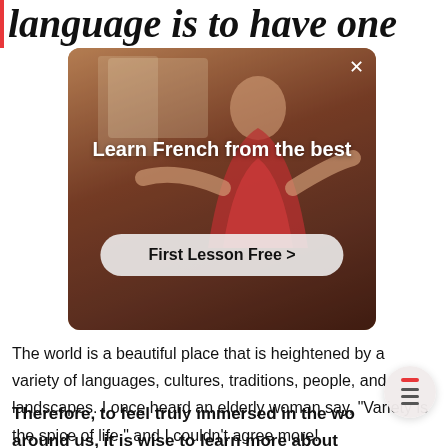language is to have one
[Figure (screenshot): Advertisement popup with dark warm-toned background showing a person in a red top. White text reads 'Learn French from the best' with a button 'First Lesson Free >' and a close X button in the top right.]
The world is a beautiful place that is heightened by a variety of languages, cultures, traditions, people, and landscapes. I once heard an elderly woman say, "Variety is the spice of life," and I couldn't agree more!
Therefore, to feel truly immersed in the world around us, it is wise to learn more about unique